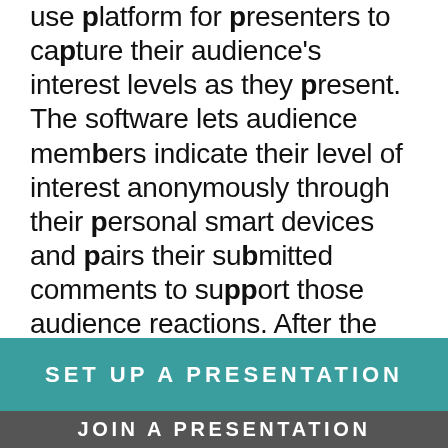use platform for presenters to capture their audience's interest levels as they present. The software lets audience members indicate their level of interest anonymously through their personal smart devices and pairs their submitted comments to support those audience reactions. After the presentation, a comprehensive visual graph breaks down all of the feedback for the presenter so they can understand which areas were most engaging and where they can improve. It can be used internally for meetings and presentations, for client calls, for a sales pitch, or any time you
SET UP A PRESENTATION
JOIN A PRESENTATION